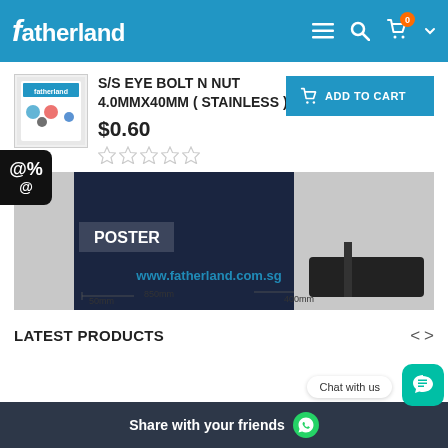fatherland
S/S EYE BOLT N NUT  4.0MMX40MM ( STAINLESS )
$0.60
[Figure (screenshot): Product image showing a display stand/poster holder with dimensions: 50mm height at base, 850mm width, 400mm depth, with www.fatherland.com.sg watermark]
LATEST PRODUCTS
Share with your friends